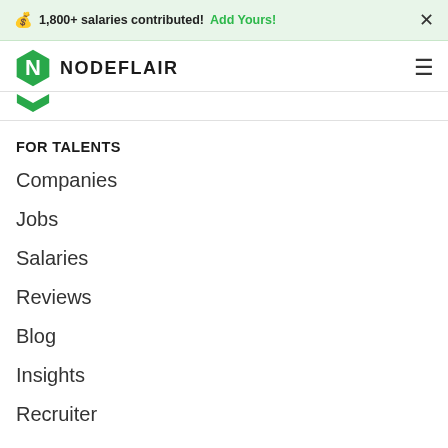💰 1,800+ salaries contributed! Add Yours! ×
[Figure (logo): NodeFlair hexagon logo in green with N letter mark, followed by text NODEFLAIR and hamburger menu icon]
FOR TALENTS
Companies
Jobs
Salaries
Reviews
Blog
Insights
Recruiter
+ Contribute ∨